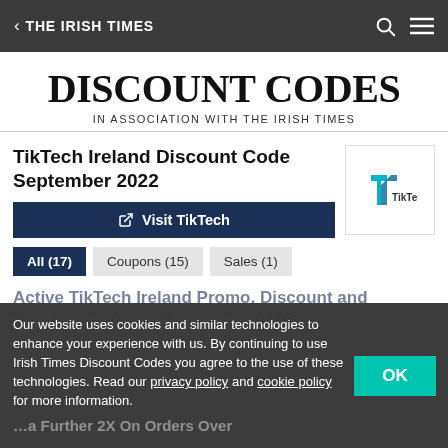THE IRISH TIMES
DISCOUNT CODES
IN ASSOCIATION WITH THE IRISH TIMES
TikTech Ireland Discount Code September 2022
Visit TikTech
All (17)  Coupons (15)  Sales (1)
Our website uses cookies and similar technologies to enhance your experience with us. By continuing to use Irish Times Discount Codes you agree to the use of these technologies. Read our privacy policy and cookie policy for more information.